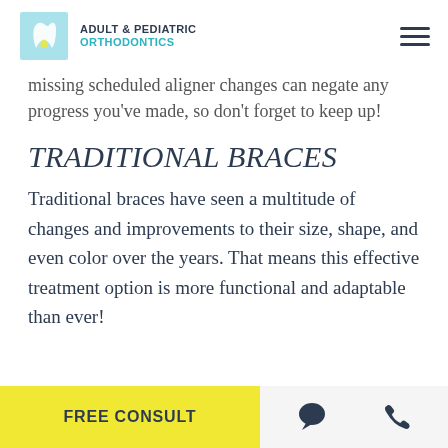ADULT & PEDIATRIC ORTHODONTICS
missing scheduled aligner changes can negate any progress you've made, so don't forget to keep up!
TRADITIONAL BRACES
Traditional braces have seen a multitude of changes and improvements to their size, shape, and even color over the years. That means this effective treatment option is more functional and adaptable than ever!
FREE CONSULT